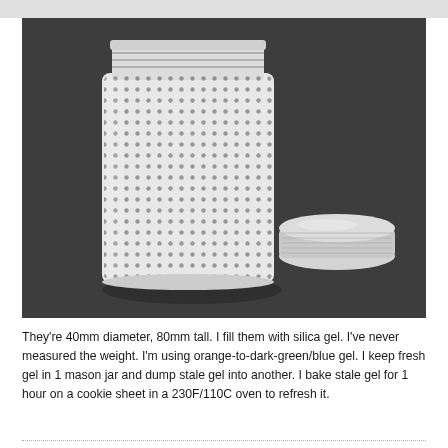[Figure (photo): A 3D-printed cylindrical container with a diamond/dot perforated pattern on its body and a threaded top opening, placed next to its separate round translucent lid, photographed on a dark gray background.]
They're 40mm diameter, 80mm tall. I fill them with silica gel. I've never measured the weight. I'm using orange-to-dark-green/blue gel. I keep fresh gel in 1 mason jar and dump stale gel into another. I bake stale gel for 1 hour on a cookie sheet in a 230F/110C oven to refresh it.